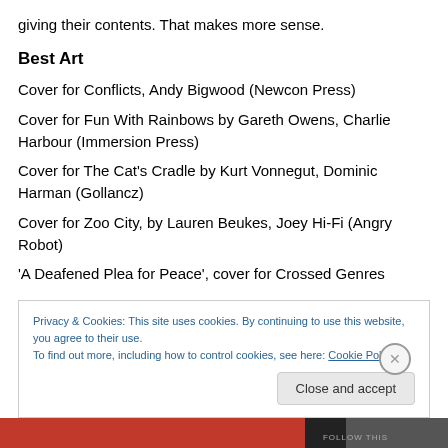giving their contents. That makes more sense.
Best Art
Cover for Conflicts, Andy Bigwood (Newcon Press)
Cover for Fun With Rainbows by Gareth Owens, Charlie Harbour (Immersion Press)
Cover for The Cat's Cradle by Kurt Vonnegut, Dominic Harman (Gollancz)
Cover for Zoo City, by Lauren Beukes, Joey Hi-Fi (Angry Robot)
'A Deafened Plea for Peace', cover for Crossed Genres
Privacy & Cookies: This site uses cookies. By continuing to use this website, you agree to their use.
To find out more, including how to control cookies, see here: Cookie Policy
Close and accept